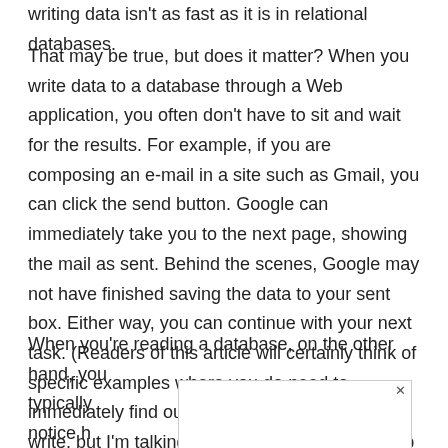writing data isn't as fast as it is in relational databases.
That may be true, but does it matter? When you write data to a database through a Web application, you often don't have to sit and wait for the results. For example, if you are composing an e-mail in a site such as Gmail, you can click the send button. Google can immediately take you to the next page, showing the mail as sent. Behind the scenes, Google may not have finished saving the data to your sent box. Either way, you can continue with your next task. (Readers of this article will certainly think of specific examples where you do need to immediately find out the results of a database write, but I'm talking about general-purpose Web applications used by the masses.)
When you're reading a database, on the other hand, you typically [obscured] gie and notice h [obscured] ch